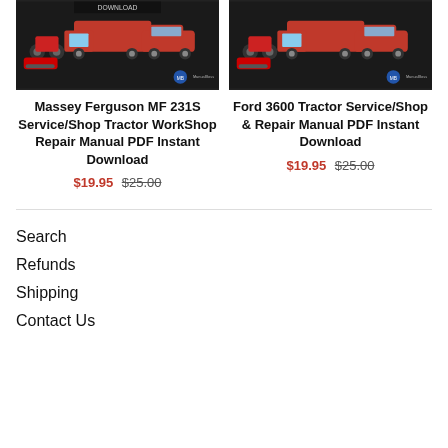[Figure (photo): Product image for Massey Ferguson MF 231S manual — vehicles including trucks, motorcycles, cars on dark background with ManualBoss logo]
Massey Ferguson MF 231S Service/Shop Tractor WorkShop Repair Manual PDF Instant Download
$19.95 $25.00
[Figure (photo): Product image for Ford 3600 Tractor manual — vehicles including trucks, motorcycles, cars on dark background with ManualBoss logo]
Ford 3600 Tractor Service/Shop & Repair Manual PDF Instant Download
$19.95 $25.00
Search
Refunds
Shipping
Contact Us